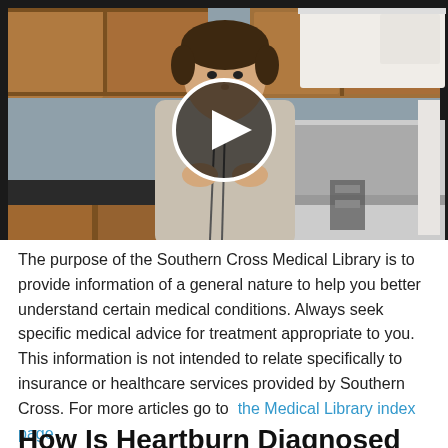[Figure (photo): Video thumbnail showing a man in a kitchen standing in front of kitchen cabinets and appliances, with a circular play button overlay in the center of the image.]
The purpose of the Southern Cross Medical Library is to provide information of a general nature to help you better understand certain medical conditions. Always seek specific medical advice for treatment appropriate to you. This information is not intended to relate specifically to insurance or healthcare services provided by Southern Cross. For more articles go to the Medical Library index page.
How Is Heartburn Diagnosed